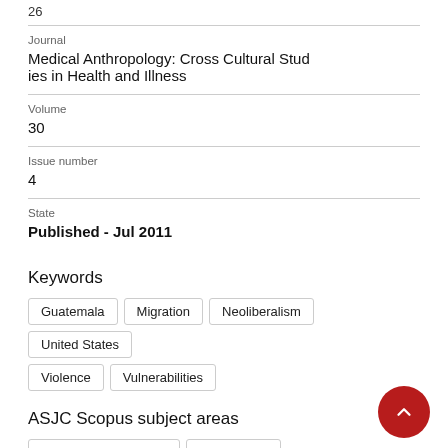26
Journal
Medical Anthropology: Cross Cultural Studies in Health and Illness
Volume
30
Issue number
4
State
Published - Jul 2011
Keywords
Guatemala
Migration
Neoliberalism
United States
Violence
Vulnerabilities
ASJC Scopus subject areas